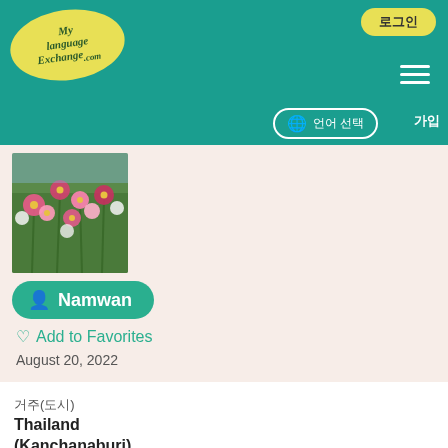[Figure (logo): MyLanguageExchange.com logo in yellow oval with cursive text]
로그인
[Figure (photo): Flower garden photo - pink and white cosmos flowers]
Namwan
Add to Favorites
August 20, 2022
거주(도시)
Thailand
(Kanchanaburi)
학습하는 언어
태국어
구사 언어
영어